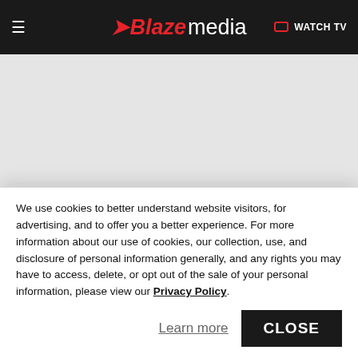Blaze Media | WATCH TV
[Figure (other): Gray advertisement/banner placeholder area]
Blaze Media / News
Luxury and corporate jets to receive special exemptions from European Union aviation
We use cookies to better understand website visitors, for advertising, and to offer you a better experience. For more information about our use of cookies, our collection, use, and disclosure of personal information generally, and any rights you may have to access, delete, or opt out of the sale of your personal information, please view our Privacy Policy.
Learn more
CLOSE